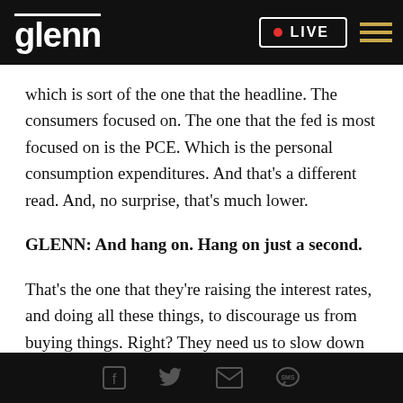glenn • LIVE
which is sort of the one that the headline. The consumers focused on. The one that the fed is most focused on is the PCE. Which is the personal consumption expenditures. And that's a different read. And, no surprise, that's much lower.
GLENN: And hang on. Hang on just a second.
That's the one that they're raising the interest rates, and doing all these things, to discourage us from buying things. Right? They need us to slow down the
Social share icons: Facebook, Twitter, Email, SMS